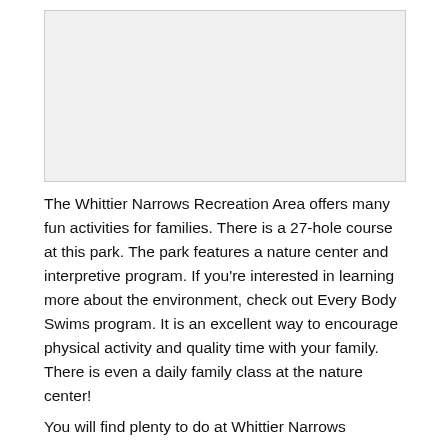[Figure (photo): Placeholder image area at top of page]
The Whittier Narrows Recreation Area offers many fun activities for families. There is a 27-hole course at this park. The park features a nature center and interpretive program. If you're interested in learning more about the environment, check out Every Body Swims program. It is an excellent way to encourage physical activity and quality time with your family. There is even a daily family class at the nature center!
You will find plenty to do at Whittier Narrows